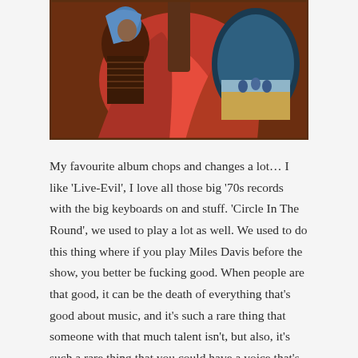[Figure (illustration): Album artwork showing a woman with a blue head covering on the left, a central figure in red flowing robes, and an oval portal on the right showing blue-robed figures in a desert landscape. Painted in a dramatic, vivid style with reds, blues, and earth tones.]
My favourite album chops and changes a lot… I like 'Live-Evil', I love all those big '70s records with the big keyboards on and stuff. 'Circle In The Round', we used to play a lot as well. We used to do this thing where if you play Miles Davis before the show, you better be fucking good. When people are that good, it can be the death of everything that's good about music, and it's such a rare thing that someone with that much talent isn't, but also, it's such a rare thing that you could have a voice that's so recognisable on an instrument. Jack White, Jimi Hendrix… there aren't that many people that are as recognisable as him on that instrument.